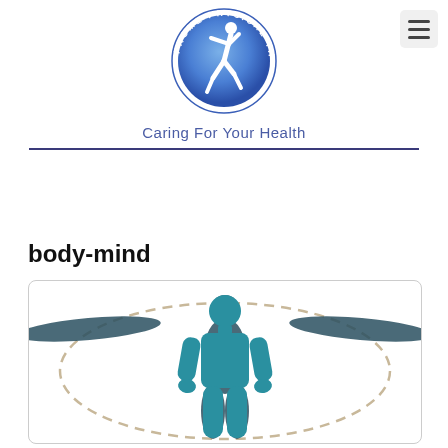[Figure (logo): Frome Physical Therapy circular logo with blue gradient circle and white running figure, text around circle reads FROME PHYSICAL THERAPY]
Caring For Your Health
body-mind
[Figure (illustration): Human body silhouette illustration showing a light blue frontal figure with darker blue shadow figures extending arms outward to both sides, surrounded by a dashed oval outline on white background]